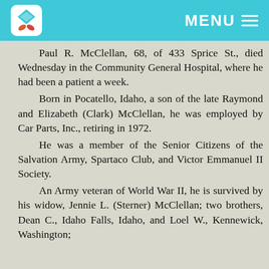MENU
Paul R. McClellan, 68, of 433 Sprice St., died Wednesday in the Community General Hospital, where he had been a patient a week. Born in Pocatello, Idaho, a son of the late Raymond and Elizabeth (Clark) McClellan, he was employed by Car Parts, Inc., retiring in 1972. He was a member of the Senior Citizens of the Salvation Army, Spartaco Club, and Victor Emmanuel II Society. An Army veteran of World War II, he is survived by his widow, Jennie L. (Sterner) McClellan; two brothers, Dean C., Idaho Falls, Idaho, and Loel W., Kennewick, Washington;